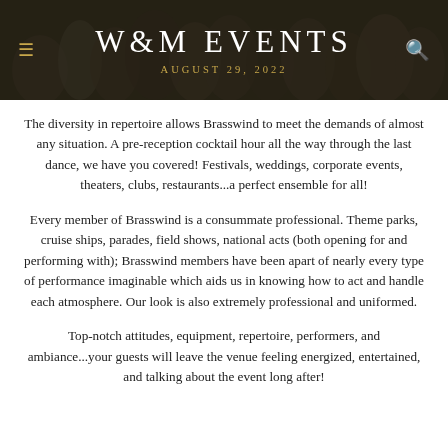W&M EVENTS
AUGUST 29, 2022
The diversity in repertoire allows Brasswind to meet the demands of almost any situation. A pre-reception cocktail hour all the way through the last dance, we have you covered! Festivals, weddings, corporate events, theaters, clubs, restaurants...a perfect ensemble for all!
Every member of Brasswind is a consummate professional. Theme parks, cruise ships, parades, field shows, national acts (both opening for and performing with); Brasswind members have been apart of nearly every type of performance imaginable which aids us in knowing how to act and handle each atmosphere. Our look is also extremely professional and uniformed.
Top-notch attitudes, equipment, repertoire, performers, and ambiance...your guests will leave the venue feeling energized, entertained, and talking about the event long after!